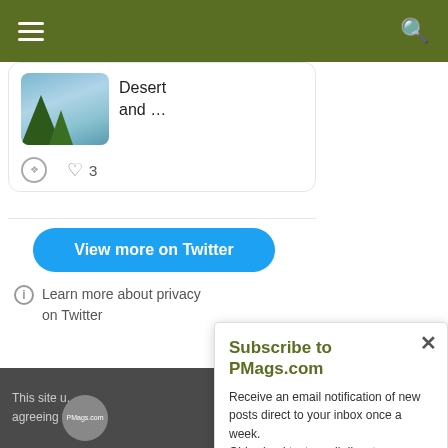[Figure (screenshot): Website navigation bar with olive/dark green background, hamburger menu icon on left and search icon on right]
[Figure (screenshot): Twitter embedded widget showing a tweet with a landscape photo thumbnail (desert/sky scene with trees), text 'Desert and ...', comment and like icons with count 3]
View more on Twitter
Learn more about privacy on Twitter
This site u... agreeing to...
Subscribe to PMags.com
Receive an email notification of new posts direct to your inbox once a week.
Old school text email digest
It is easy!
CLICK HERE TO SUBSCRIBE